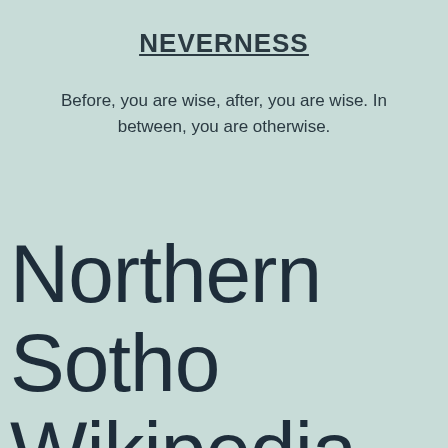NEVERNESS
Before, you are wise, after, you are wise. In between, you are otherwise.
Northern Sotho Wikipedia now